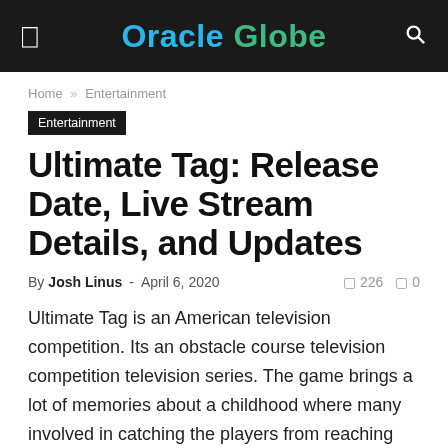Oracle Globe
Home › Entertainment
Entertainment
Ultimate Tag: Release Date, Live Stream Details, and Updates
By Josh Linus - April 6, 2020   226   0
Ultimate Tag is an American television competition. Its an obstacle course television competition television series. The game brings a lot of memories about a childhood where many involved in catching the players from reaching the